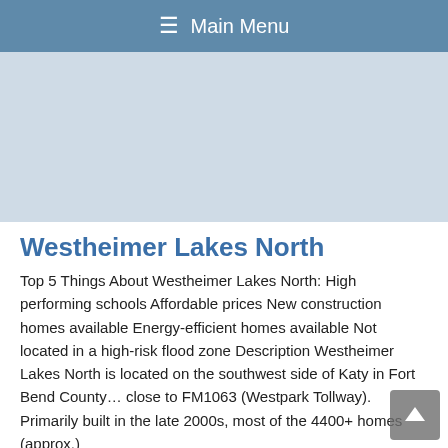≡ Main Menu
[Figure (other): Advertisement or banner area — gray placeholder block]
Westheimer Lakes North
Top 5 Things About Westheimer Lakes North: High performing schools Affordable prices New construction homes available Energy-efficient homes available Not located in a high-risk flood zone Description Westheimer Lakes North is located on the southwest side of Katy in Fort Bend County... close to FM1063 (Westpark Tollway). Primarily built in the late 2000s, most of the 4400+ homes (approx.)